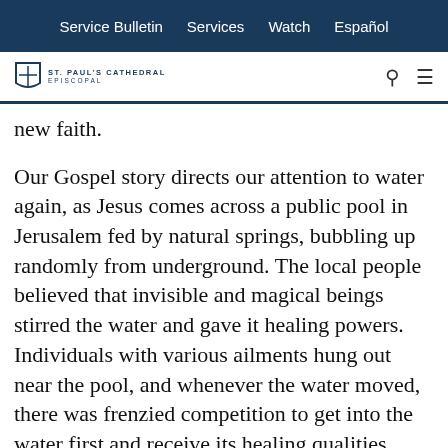Service Bulletin   Services   Watch   Español
[Figure (logo): St. Paul's Cathedral Episcopal logo with shield icon and navigation icons (search and menu)]
new faith.
Our Gospel story directs our attention to water again, as Jesus comes across a public pool in Jerusalem fed by natural springs, bubbling up randomly from underground. The local people believed that invisible and magical beings stirred the water and gave it healing powers. Individuals with various ailments hung out near the pool, and whenever the water moved, there was frenzied competition to get into the water first and receive its healing qualities before the water calmed down. The man whom Jesus addresses evidently can't move fast enough to